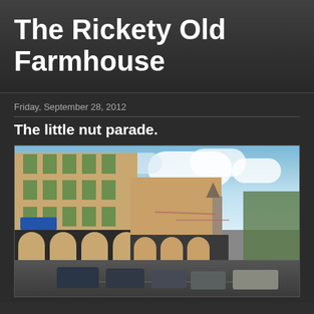The Rickety Old Farmhouse
Friday, September 28, 2012
The little nut parade.
[Figure (photo): Street scene in a French town showing old multi-story buildings with green shutters and arched ground-floor arcades on the left, a church steeple visible in the background, cars parked along the street, flags/lights strung across the street, and a cloudy blue sky.]